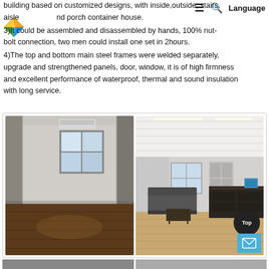≡  🔍  Language
building based on customized designs, with inside,outside, stairs, aisle and porch container house.
3)It could be assembled and disassembled by hands, 100% nut-bolt connection, two men could install one set in 2hours.
4)The top and bottom main steel frames were welded separately, upgrade and strengthened panels, door, window, it is of high firmness and excellent performance of waterproof, thermal and sound insulation with long service.
[Figure (photo): Two interior photos of a container house. Left photo shows an empty room with dark hardwood floors, white walls, a window and an air conditioning unit. Right photo shows a furnished interior with a sofa, coffee table, reception desk, light wood floors and a white paneled ceiling with strip lighting.]